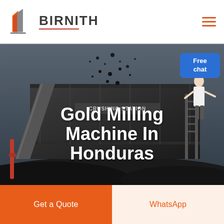[Figure (logo): Birnith company logo with orange building icon and brand name BIRNITH with red underline, plus hamburger menu icon in orange on the right]
[Figure (photo): Dark industrial photo of a large crushing station / gold milling machine with conveyor belts and machinery. A person in white shirt stands on the right side next to a blue 'Free chat' button.]
Gold Milling Machine In Honduras
Get a Quote
WhatsApp